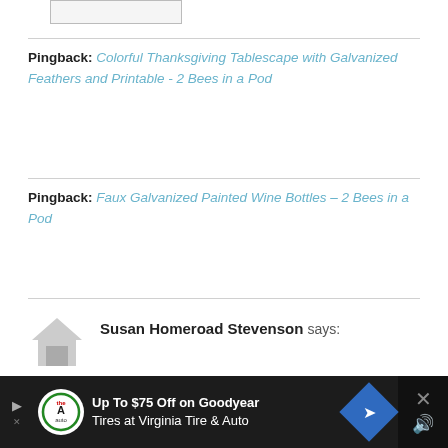Pingback: Colorful Thanksgiving Tablescape with Galvanized Feathers and Printable - 2 Bees in a Pod
Pingback: Faux Galvanized Painted Wine Bottles - 2 Bees in a Pod
Susan Homeroad Stevenson says:
[Figure (screenshot): Advertisement bar at the bottom: 'Up To $75 Off on Goodyear Tires at Virginia Tire & Auto']